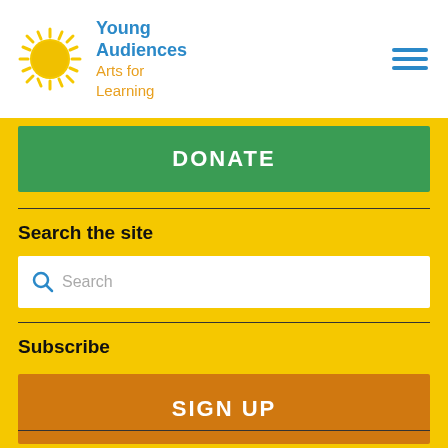[Figure (logo): Young Audiences Arts for Learning logo with a yellow sun illustration and blue/orange text]
DONATE
Search the site
Search
Subscribe
SIGN UP